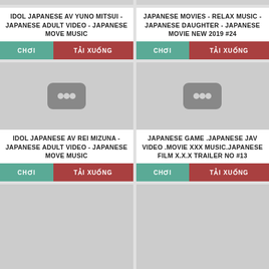[Figure (screenshot): Top partial thumbnail strip left]
[Figure (screenshot): Top partial thumbnail strip right]
IDOL JAPANESE AV YUNO MITSUI - JAPANESE ADULT VIDEO - JAPANESE MOVE MUSIC
JAPANESE MOVIES - RELAX MUSIC - JAPANESE DAUGHTER - JAPANESE MOVIE NEW 2019 #24
CHƠI
TẢI XUỐNG
CHƠI
TẢI XUỐNG
[Figure (screenshot): Video thumbnail placeholder left - gray background with dark rounded rectangle and three dots]
[Figure (screenshot): Video thumbnail placeholder right - gray background with dark rounded rectangle and three dots]
IDOL JAPANESE AV REI MIZUNA - JAPANESE ADULT VIDEO - JAPANESE MOVE MUSIC
JAPANESE GAME .JAPANESE JAV VIDEO .MOVIE XXX MUSIC.JAPANESE FILM X.X.X TRAILER NO #13
CHƠI
TẢI XUỐNG
CHƠI
TẢI XUỐNG
[Figure (screenshot): Bottom partial thumbnail strip left]
[Figure (screenshot): Bottom partial thumbnail strip right]